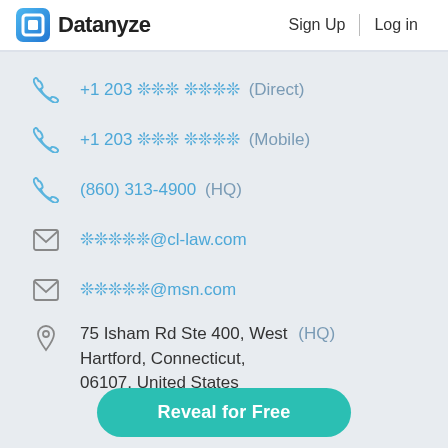Datanyze  Sign Up  Log in
+1 203 *** **** (Direct)
+1 203 *** **** (Mobile)
(860) 313-4900 (HQ)
*****@cl-law.com
*****@msn.com
75 Isham Rd Ste 400, West Hartford, Connecticut, 06107, United States (HQ)
Reveal for Free